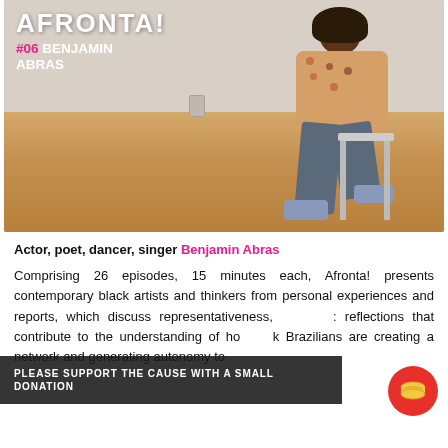[Figure (photo): Photo of Benjamin Abras, a young Black man with beard, wearing a floral patterned shirt and jeans, seated on a metal stool in a room with wood floor and neutral wall. Text overlay reads 'AFRONTA! #06 BENJAMIN ABRAS']
Actor, poet, dancer, singer Benjamin Abras
Comprising 26 episodes, 15 minutes each, Afronta! presents contemporary black artists and thinkers from personal experiences and reports, which discuss representativeness, culture and other relevant themes to stimulate reflections that contribute to the understanding of how Black Brazilians are creating a network and generating autonomy to
PLEASE SUPPORT THE CAUSE WITH A SMALL DONATION